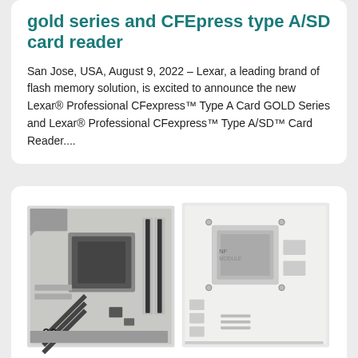gold series and CFEpress type A/SD card reader
San Jose, USA, August 9, 2022 – Lexar, a leading brand of flash memory solution, is excited to announce the new Lexar® Professional CFexpress™ Type A Card GOLD Series and Lexar® Professional CFexpress™ Type A/SD™ Card Reader....
[Figure (photo): Two motherboard images side by side: left shows a white/black mini-ITX motherboard front view with '66' label, right shows the back/PCB side of the same motherboard]
COLORFUL Launched CVN B660I Mini-ITX Motherboards
July 29th, 2022 Shenzhen, China – Colorful